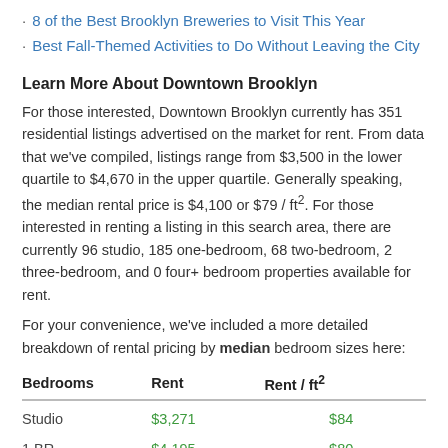8 of the Best Brooklyn Breweries to Visit This Year
Best Fall-Themed Activities to Do Without Leaving the City
Learn More About Downtown Brooklyn
For those interested, Downtown Brooklyn currently has 351 residential listings advertised on the market for rent. From data that we've compiled, listings range from $3,500 in the lower quartile to $4,670 in the upper quartile. Generally speaking, the median rental price is $4,100 or $79 / ft². For those interested in renting a listing in this search area, there are currently 96 studio, 185 one-bedroom, 68 two-bedroom, 2 three-bedroom, and 0 four+ bedroom properties available for rent.
For your convenience, we've included a more detailed breakdown of rental pricing by median bedroom sizes here:
| Bedrooms | Rent | Rent / ft² |
| --- | --- | --- |
| Studio | $3,271 | $84 |
| 1 BR | $4,195 | $80 |